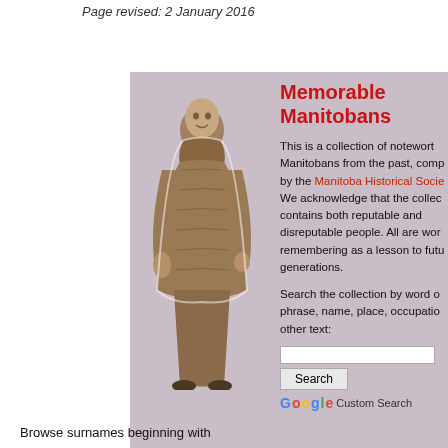Page revised: 2 January 2016
Memorable Manitobans
[Figure (illustration): Historical sepia illustration of a person wearing a large fur coat, full-length portrait]
This is a collection of noteworthy Manitobans from the past, compiled by the Manitoba Historical Society. We acknowledge that the collection contains both reputable and disreputable people. All are worth remembering as a lesson to future generations.
Search the collection by word or phrase, name, place, occupation, or other text:
Browse surnames beginning with